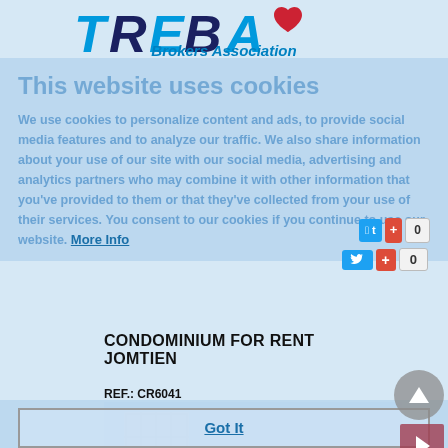[Figure (logo): TREBA Brokers Association logo with stylized text and heart icon]
This website uses cookies
We use cookies to personalize content and ads, to provide social media features and to analyze our traffic. We also share information about your use of our site with our social media, advertising and analytics partners who may combine it with other information that you've provided to them or that they've collected from your use of their services. You consent to our cookies if you continue to use our website. More Info
CONDOMINIUM FOR RENT JOMTIEN
REF.: CR6041
[Figure (photo): Condominium building photo showing a tall tower building against a blue sky with palm trees]
Got It